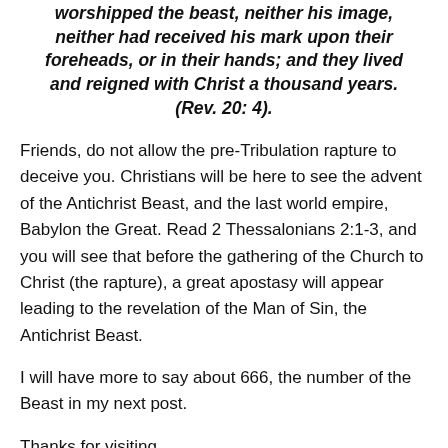worshipped the beast, neither his image, neither had received his mark upon their foreheads, or in their hands; and they lived and reigned with Christ a thousand years. (Rev. 20: 4).
Friends, do not allow the pre-Tribulation rapture to deceive you. Christians will be here to see the advent of the Antichrist Beast, and the last world empire, Babylon the Great. Read 2 Thessalonians 2:1-3, and you will see that before the gathering of the Church to Christ (the rapture), a great apostasy will appear leading to the revelation of the Man of Sin, the Antichrist Beast.
I will have more to say about 666, the number of the Beast in my next post.
Thanks for visiting.